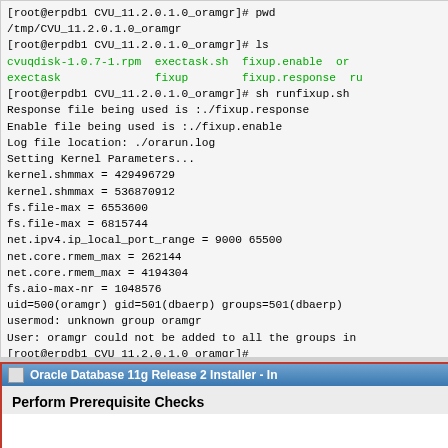[Figure (screenshot): Terminal window showing shell commands and output for Oracle CVU runfixup.sh script, including kernel parameter settings and user/group information.]
[Figure (screenshot): Partial Oracle Database 11g Release 2 Installer window showing title bar and 'Perform Prerequisite Checks' heading.]